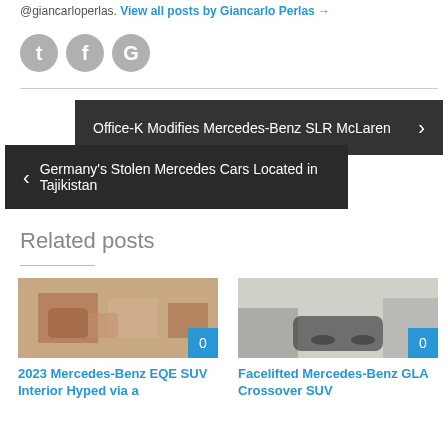@giancarloperlas. View all posts by Giancarlo Perlas →
[Figure (illustration): Three social media icons: Twitter (T), Facebook (F), Google (G) as gray circles]
Office-K Modifies Mercedes-Benz SLR McLaren →
← Germany's Stolen Mercedes Cars Located in Tajikistan
Related posts
[Figure (photo): Thumbnail of 2023 Mercedes-Benz EQE SUV interior with comment badge showing 0]
2023 Mercedes-Benz EQE SUV Interior Hyped via a
[Figure (photo): Thumbnail of Facelifted Mercedes-Benz GLA Crossover SUV with comment badge showing 0]
Facelifted Mercedes-Benz GLA Crossover SUV